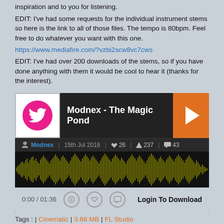inspiration and to you for listening.
EDIT: I've had some requests for the individual instrument stems so here is the link to all of those files. The tempo is 80bpm. Feel free to do whatever you want with this one.
https://www.mediafire.com/?vzbi2scw8vc7cws
EDIT: I've had over 200 downloads of the stems, so if you have done anything with them it would be cool to hear it (thanks for the interest).
[Figure (screenshot): Audio player widget showing 'Modnex - The Magic Pond' with Twitter bird logo, play button, waveform visualization, time 0:00/01:36, like/comment icons, and Login To Download button]
Tags : | Cinematic | 3.66 MB | FL Studio